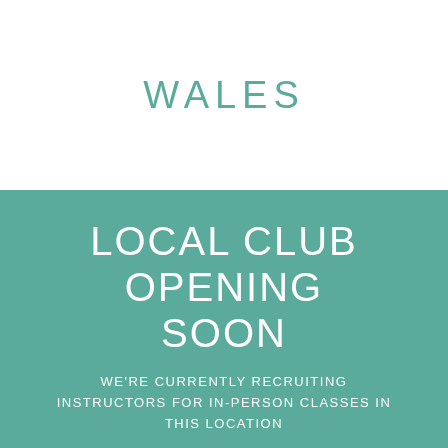WALES
LOCAL CLUB OPENING SOON
WE'RE CURRENTLY RECRUITING INSTRUCTORS FOR IN-PERSON CLASSES IN THIS LOCATION
WHILE YOU WAIT, WE'VE PICKED OUR TOP INSTRUCTORS FROM